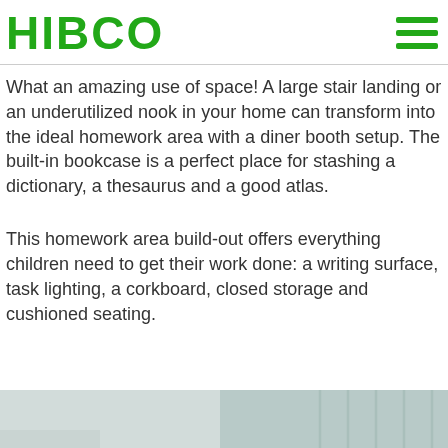HIBCO
What an amazing use of space! A large stair landing or an underutilized nook in your home can transform into the ideal homework area with a diner booth setup. The built-in bookcase is a perfect place for stashing a dictionary, a thesaurus and a good atlas.
This homework area build-out offers everything children need to get their work done: a writing surface, task lighting, a corkboard, closed storage and cushioned seating.
[Figure (photo): Bottom strip of a photo showing a homework nook or built-in seating area, partially visible at bottom of page]